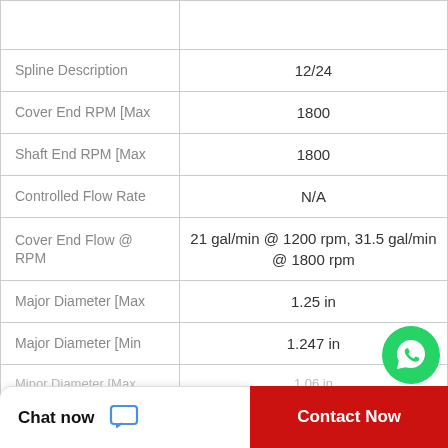| Property | Value |
| --- | --- |
|  |  |
| Spline Description | 12/24 |
| Cover End RPM [Max | 1800 |
| Shaft End RPM [Max | 1800 |
| Controlled Flow Rate | N/A |
| Cover End Flow @ RPM | 21 gal/min @ 1200 rpm, 31.5 gal/min @ 1800 rpm |
| Major Diameter [Max | 1.25 in |
| Major Diameter [Min | 1.247 in |
| Minor Diameter [Max | 1.06 in |